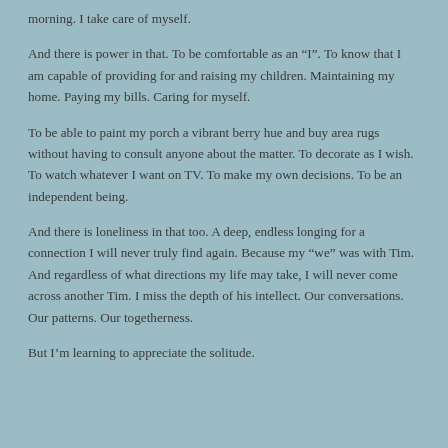morning.  I take care of myself.
And there is power in that.  To be comfortable as an “I”.  To know that I am capable of providing for and raising my children.  Maintaining my home.  Paying my bills.  Caring for myself.
To be able to paint my porch a vibrant berry hue and buy area rugs without having to consult anyone about the matter.  To decorate as I wish.  To watch whatever I want on TV.  To make my own decisions.  To be an independent being.
And there is loneliness in that too.  A deep, endless longing for a connection I will never truly find again.  Because my “we” was with Tim.  And regardless of what directions my life may take, I will never come across another Tim.  I miss the depth of his intellect.  Our conversations.  Our patterns.  Our togetherness.
But I’m learning to appreciate the solitude.